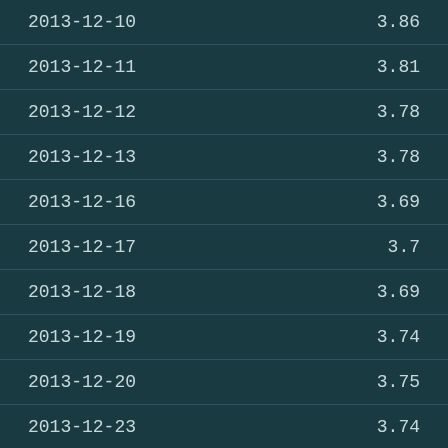| 2013-12-10 | 3.86 |
| 2013-12-11 | 3.81 |
| 2013-12-12 | 3.78 |
| 2013-12-13 | 3.78 |
| 2013-12-16 | 3.69 |
| 2013-12-17 | 3.7 |
| 2013-12-18 | 3.69 |
| 2013-12-19 | 3.74 |
| 2013-12-20 | 3.75 |
| 2013-12-23 | 3.74 |
| 2013-12-24 | 3.72 |